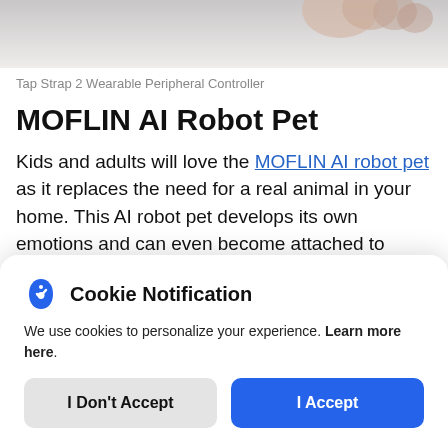[Figure (photo): Cropped photo showing a hand/fingers, grey gradient background, partial product image]
Tap Strap 2 Wearable Peripheral Controller
MOFLIN AI Robot Pet
Kids and adults will love the MOFLIN AI robot pet as it replaces the need for a real animal in your home. This AI robot pet develops its own emotions and can even become attached to
[Figure (screenshot): Cookie notification popup overlay with shield icon, title 'Cookie Notification', descriptive text, and two buttons: 'I Don't Accept' and 'I Accept']